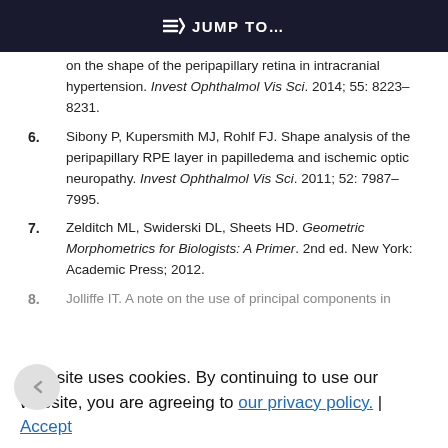JUMP TO...
on the shape of the peripapillary retina in intracranial hypertension. Invest Ophthalmol Vis Sci. 2014; 55: 8223–8231.
6. Sibony P, Kupersmith MJ, Rohlf FJ. Shape analysis of the peripapillary RPE layer in papilledema and ischemic optic neuropathy. Invest Ophthalmol Vis Sci. 2011; 52: 7987–7995.
7. Zelditch ML, Swiderski DL, Sheets HD. Geometric Morphometrics for Biologists: A Primer. 2nd ed. New York: Academic Press; 2012.
8. Jolliffe IT. A note on the use of principal components in
This site uses cookies. By continuing to use our website, you are agreeing to our privacy policy.
Accept